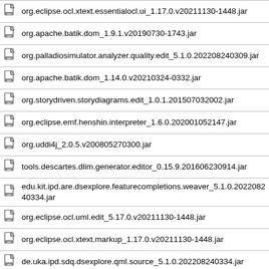org.eclipse.ocl.xtext.essentialocl.ui_1.17.0.v20211130-1448.jar
org.apache.batik.dom_1.9.1.v20190730-1743.jar
org.palladiosimulator.analyzer.quality.edit_5.1.0.202208240309.jar
org.apache.batik.dom_1.14.0.v20210324-0332.jar
org.storydriven.storydiagrams.edit_1.0.1.201507032002.jar
org.eclipse.emf.henshin.interpreter_1.6.0.202001052147.jar
org.uddi4j_2.0.5.v200805270300.jar
tools.descartes.dlim.generator.editor_0.15.9.201606230914.jar
edu.kit.ipd.are.dsexplore.featurecompletions.weaver_5.1.0.202208240334.jar
org.eclipse.ocl.uml.edit_5.17.0.v20211130-1448.jar
org.eclipse.ocl.xtext.markup_1.17.0.v20211130-1448.jar
de.uka.ipd.sdq.dsexplore.qml.source_5.1.0.202208240334.jar